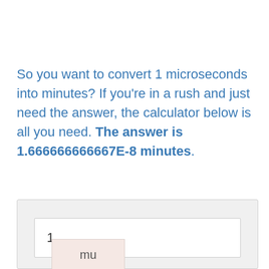So you want to convert 1 microseconds into minutes? If you're in a rush and just need the answer, the calculator below is all you need. The answer is 1.666666666667E-8 minutes.
[Figure (screenshot): A calculator input box with the value 1 entered, and a partially visible unit selector showing 'mu' (microseconds)]